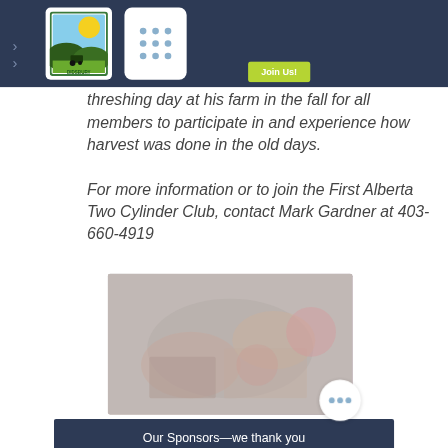[Figure (logo): Didsbury Agricultural Society logo — circular green border badge with yellow sun and farm scene]
threshing day at his farm in the fall for all members to participate in and experience how harvest was done in the old days.
For more information or to join the First Alberta Two Cylinder Club, contact Mark Gardner at 403-660-4919
[Figure (photo): Blurred outdoor photo, appears to show farming/agricultural equipment or activity with colorful elements]
Our Sponsors—we thank you